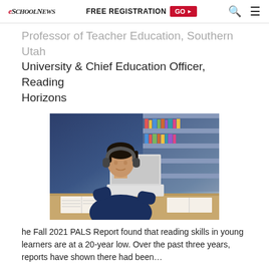eSchool News | FREE REGISTRATION GO ▶ 🔍 ☰
Professor of Teacher Education, Southern Utah University & Chief Education Officer, Reading Horizons
[Figure (photo): A young male student wearing headphones and a navy blue t-shirt working on a laptop at a desk with open books, in front of a bookshelf]
he Fall 2021 PALS Report found that reading skills in young learners are at a 20-year low. Over the past three years, reports have shown there had been…